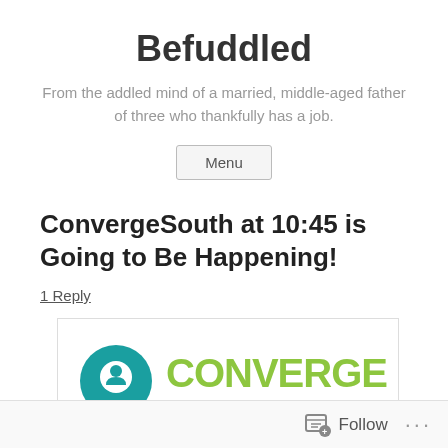Befuddled
From the addled mind of a married, middle-aged father of three who thankfully has a job.
Menu
ConvergeSouth at 10:45 is Going to Be Happening!
1 Reply
[Figure (logo): ConvergeSouth 2015 logo with teal location pin icon and green/navy text]
Follow ...